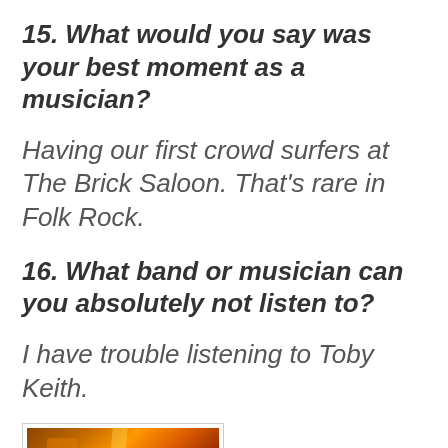15. What would you say was your best moment as a musician?
Having our first crowd surfers at The Brick Saloon. That's rare in Folk Rock.
16. What band or musician can you absolutely not listen to?
I have trouble listening to Toby Keith.
[Figure (photo): A warm orange-lit photo of what appears to be a drum kit or musical equipment on a dimly lit stage]